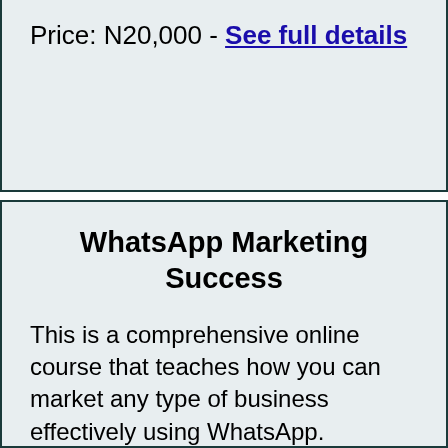Price: N20,000 - See full details
WhatsApp Marketing Success
This is a comprehensive online course that teaches how you can market any type of business effectively using WhatsApp.
Price: N20,000 - See full details